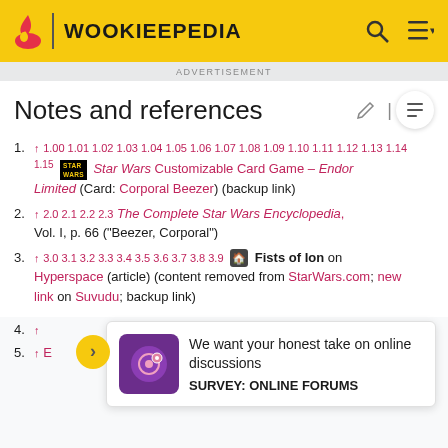WOOKIEEPEDIA
ADVERTISEMENT
Notes and references
↑ 1.00 1.01 1.02 1.03 1.04 1.05 1.06 1.07 1.08 1.09 1.10 1.11 1.12 1.13 1.14 1.15 [STAR WARS logo] Star Wars Customizable Card Game – Endor Limited (Card: Corporal Beezer) (backup link)
↑ 2.0 2.1 2.2 2.3 The Complete Star Wars Encyclopedia, Vol. I, p. 66 ("Beezer, Corporal")
↑ 3.0 3.1 3.2 3.3 3.4 3.5 3.6 3.7 3.8 3.9 [icon] Fists of Ion on Hyperspace (article) (content removed from StarWars.com; new link on Suvudu; backup link)
4. ↑
5. ↑ E
We want your honest take on online discussions SURVEY: ONLINE FORUMS